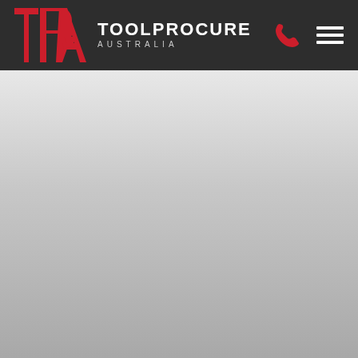[Figure (logo): ToolProcure Australia logo — TPA red geometric letters on dark background with company name in white]
[Figure (other): Grey gradient content area below the navigation header]